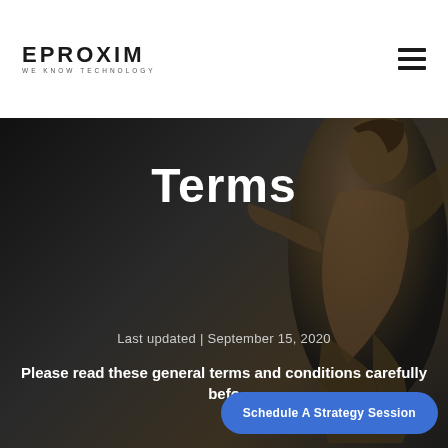EPROXIM — WE KNOW TECHNOLOGY
Terms
Last updated | September 15, 2020
Please read these general terms and conditions carefully befo...
Schedule A Strategy Session